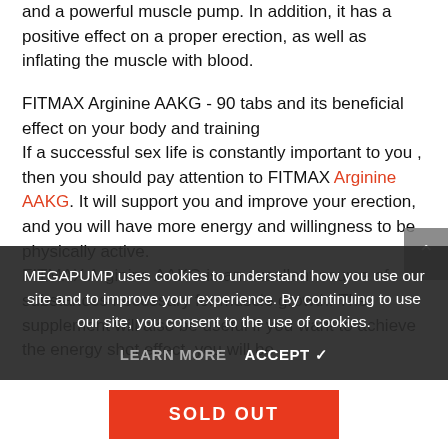and a powerful muscle pump. In addition, it has a positive effect on a proper erection, as well as inflating the muscle with blood.
FITMAX Arginine AAKG - 90 tabs and its beneficial effect on your body and training
If a successful sex life is constantly important to you , then you should pay attention to FITMAX Arginine AAKG. It will support you and improve your erection, and you will have more energy and willingness to be physically active. FITMAX Arginine AAKG is an excellent source of substances necessary for muscle growth. The supplement will also be useful if you want to achieve the energy shot effect, you will be
MEGAPUMP uses cookies to understand how you use our site and to improve your experience. By continuing to use our site, you consent to the use of cookies.
LEARN MORE    ACCEPT ✓
SOLD OUT